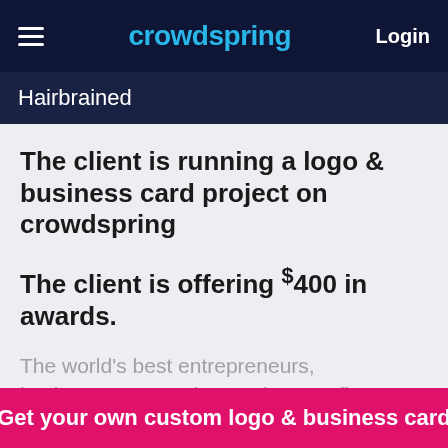crowdspring | Login
Hairbrained
The client is running a logo & business card project on crowdspring
The client is offering $400 in awards.
The world's best entrepreneurs, businesses, agencies, and nonprofits trust crowdspring for custom logo & business card needs.
Get your own custom logo & business card